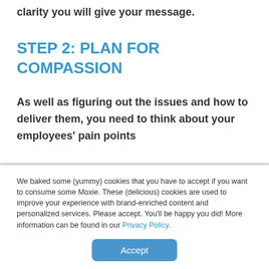clarity you will give your message.
STEP 2: PLAN FOR COMPASSION
As well as figuring out the issues and how to deliver them, you need to think about your employees' pain points
We baked some (yummy) cookies that you have to accept if you want to consume some Moxie. These (delicious) cookies are used to improve your experience with brand-enriched content and personalized services. Please accept. You'll be happy you did! More information can be found in our Privacy Policy.